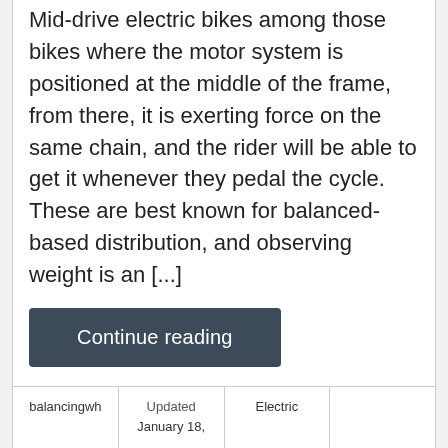Mid-drive electric bikes among those bikes where the motor system is positioned at the middle of the frame, from there, it is exerting force on the same chain, and the rider will be able to get it whenever they pedal the cycle. These are best known for balanced-based distribution, and observing weight is an [...]
Continue reading
| balancingwh | Updated
January 18, | Electric |  |